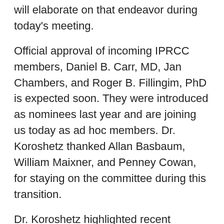will elaborate on that endeavor during today's meeting.
Official approval of incoming IPRCC members, Daniel B. Carr, MD, Jan Chambers, and Roger B. Fillingim, PhD is expected soon. They were introduced as nominees last year and are joining us today as ad hoc members. Dr. Koroshetz thanked Allan Basbaum, William Maixner, and Penney Cowan, for staying on the committee during this transition.
Dr. Koroshetz highlighted recent science advances in pain research. He noted that research to understand pain circuits is moving along at a rapid pace.
A study by Chen, et al.1 explored PD-L1 in dorsal root ganglion (DRG) cells. PD-L1 is a checkpoint inhibitor that when blocked in cancer patients, dramatically reverses some tumors. In this paper, they found that